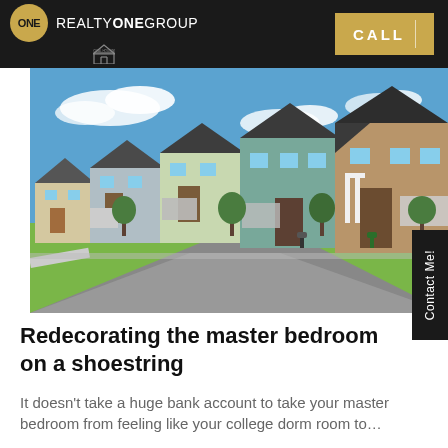ONE REALTY ONE GROUP | CALL
[Figure (photo): Street view of a row of modern suburban houses with manicured lawns, trees, and a curved road in the foreground under a blue sky]
Redecorating the master bedroom on a shoestring
It doesn't take a huge bank account to take your master bedroom from feeling like your college dorm room to…